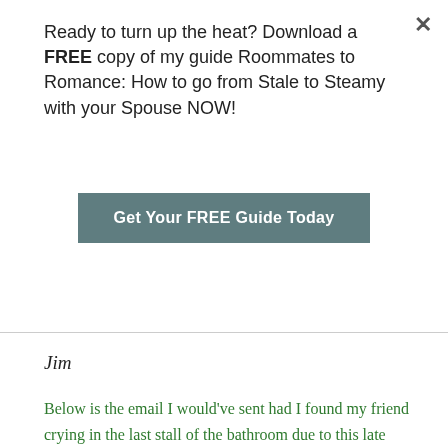Ready to turn up the heat? Download a FREE copy of my guide Roommates to Romance: How to go from Stale to Steamy with your Spouse NOW!
Get Your FREE Guide Today
Jim
Below is the email I would've sent had I found my friend crying in the last stall of the bathroom due to this late night self-esteem crusher.
Jim,
I hate to be one of many…but I really feel sorry for you.